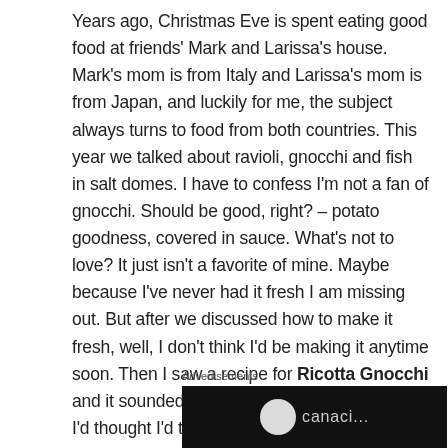Years ago, Christmas Eve is spent eating good food at friends' Mark and Larissa's house. Mark's mom is from Italy and Larissa's mom is from Japan, and luckily for me, the subject always turns to food from both countries. This year we talked about ravioli, gnocchi and fish in salt domes. I have to confess I'm not a fan of gnocchi. Should be good, right? – potato goodness, covered in sauce. What's not to love? It just isn't a favorite of mine. Maybe because I've never had it fresh I am missing out. But after we discussed how to make it fresh, well, I don't think I'd be making it anytime soon. Then I saw a recipe for Ricotta Gnocchi and it sounded good and best of all, easy.  So I'd thought I'd try it. This is what I came up with and it quickly became a favorite of my guests.
Advertisements
[Figure (other): Advertisement banner with black background, white circle logo and partial text visible]